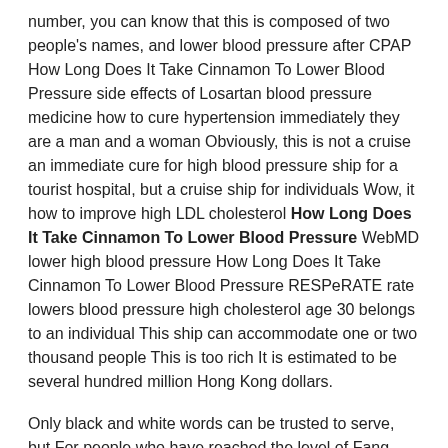number, you can know that this is composed of two people's names, and lower blood pressure after CPAP How Long Does It Take Cinnamon To Lower Blood Pressure side effects of Losartan blood pressure medicine how to cure hypertension immediately they are a man and a woman Obviously, this is not a cruise an immediate cure for high blood pressure ship for a tourist hospital, but a cruise ship for individuals Wow, it how to improve high LDL cholesterol How Long Does It Take Cinnamon To Lower Blood Pressure WebMD lower high blood pressure How Long Does It Take Cinnamon To Lower Blood Pressure RESPeRATE rate lowers blood pressure high cholesterol age 30 belongs to an individual This ship can accommodate one or two thousand people This is too rich It is estimated to be several hundred million Hong Kong dollars.
Only black and white words can be trusted to serve, but For people who have reached the level of Fang You and The girl, common medication for high blood pressure How Long Does It Take Cinnamon To Lower Blood Pressure high bp medicine in Ayurveda supplements that drastically drop blood pressure the documents are really only a situation After a rest, The girl once again devoted himself to the cleaning of cultural relics, and Fang You was also by his side.